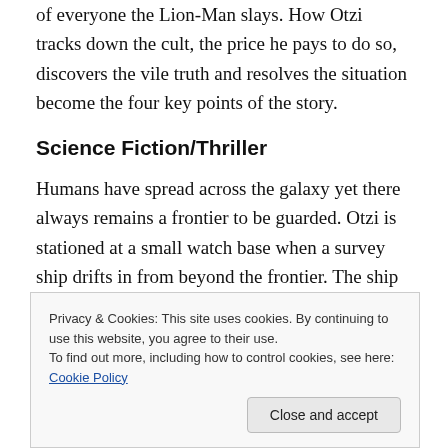of everyone the Lion-Man slays. How Otzi tracks down the cult, the price he pays to do so, discovers the vile truth and resolves the situation become the four key points of the story.
Science Fiction/Thriller
Humans have spread across the galaxy yet there always remains a frontier to be guarded. Otzi is stationed at a small watch base when a survey ship drifts in from beyond the frontier. The ship doesn't respond to hails and upon investigation is discovered to be devoid of life save for a
Privacy & Cookies: This site uses cookies. By continuing to use this website, you agree to their use.
To find out more, including how to control cookies, see here: Cookie Policy
Close and accept